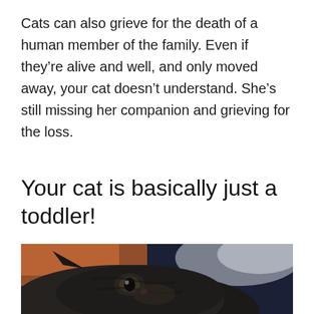Cats can also grieve for the death of a human member of the family. Even if they're alive and well, and only moved away, your cat doesn't understand. She's still missing her companion and grieving for the loss.
Your cat is basically just a toddler!
[Figure (photo): Close-up photo of a tabby cat's face, shot from above with blurred background showing orange and dark blue/navy tones. The cat's ear, eye, and top of head are visible.]